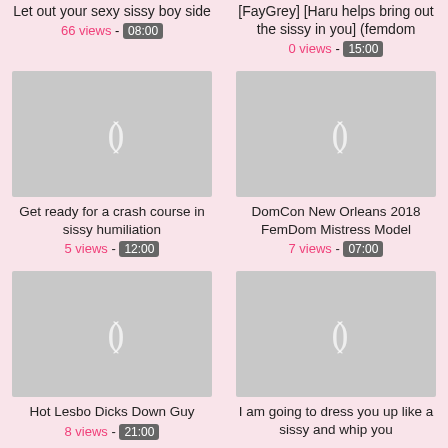Let out your sexy sissy boy side
66 views - 08:00
[FayGrey] [Haru helps bring out the sissy in you] (femdom
0 views - 15:00
[Figure (photo): Video thumbnail placeholder - gray rectangle with play icon]
Get ready for a crash course in sissy humiliation
5 views - 12:00
[Figure (photo): Video thumbnail placeholder - gray rectangle with play icon]
DomCon New Orleans 2018 FemDom Mistress Model
7 views - 07:00
[Figure (photo): Video thumbnail placeholder - gray rectangle with play icon]
Hot Lesbo Dicks Down Guy
8 views - 21:00
[Figure (photo): Video thumbnail placeholder - gray rectangle with play icon]
I am going to dress you up like a sissy and whip you